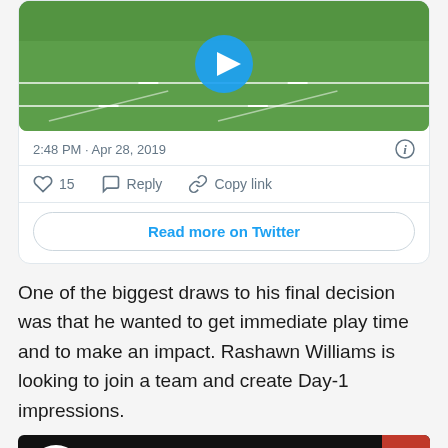[Figure (screenshot): Twitter/social media card showing a football field video thumbnail with a blue play button, timestamp '2:48 PM · Apr 28, 2019', like (15), reply, and copy link actions, and a 'Read more on Twitter' button]
One of the biggest draws to his final decision was that he wanted to get immediate play time and to make an impact. Rashawn Williams is looking to join a team and create Day-1 impressions.
[Figure (screenshot): Rivals video embed showing logo and title 'RCS Cincinnati: Rashawn Williams ...' with a scroll-to-top red button]